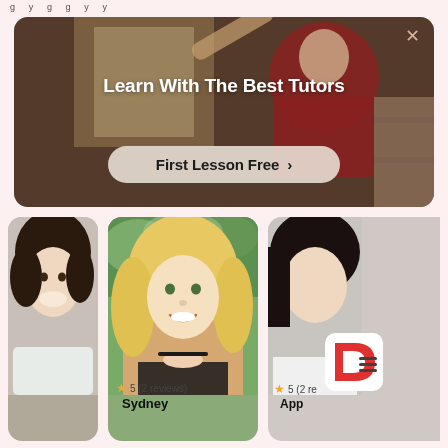g y g g y y
[Figure (screenshot): Promotional banner with dark background photo of a person, text 'Learn With The Best Tutors' and a button 'First Lesson Free >' with a close X button]
Learn With The Best Tutors
First Lesson Free >
[Figure (photo): Three tutor profile photos in cards on a pink background: left card shows a brunette smiling girl, center card shows a blonde smiling woman outdoors, right card partially visible shows a dark-haired person. Star ratings and names visible below.]
5 (2 reviews)
Sydney
5 (2 re
App